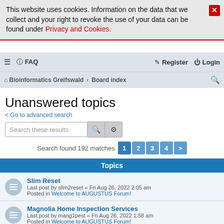This website uses cookies. Information on the data that we collect and your right to revoke the use of your data can be found under Privacy and Cookies.
≡  FAQ   Register  Login
Bioinformatics Greifswald › Board index
Unanswered topics
< Go to advanced search
Search these results
Search found 192 matches   1  2  3  4  >
Topics
Slim Reset
Last post by slim2reset « Fri Aug 26, 2022 2:05 am
Posted in Welcome to AUGUSTUS Forum!
Magnolia Home Inspection Services
Last post by mang1pest « Fri Aug 26, 2022 1:58 am
Posted in Welcome to AUGUSTUS Forum!
MHIS Pest Control Service
Last post by mhis1pest « Fri Aug 26, 2022 1:26 am